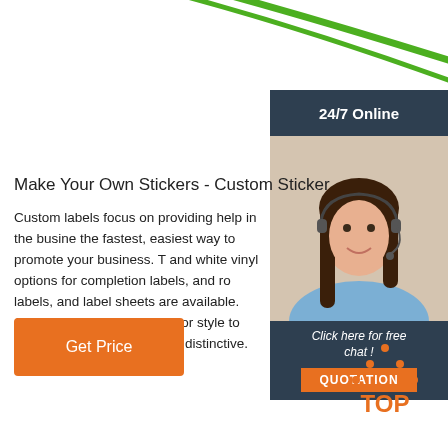[Figure (illustration): Green swoosh/ribbon decorative element at the top of the page]
[Figure (photo): Customer service representative woman with headset smiling, with dark blue background panel showing '24/7 Online' text, 'Click here for free chat!' text, and an orange QUOTATION button]
Make Your Own Stickers - Custom Sticker
Custom labels focus on providing help in the busine the fastest, easiest way to promote your business. T and white vinyl options for completion labels, and ro labels, and label sheets are available. Choose custo of any shape or style to make your product or packa distinctive.
[Figure (illustration): Orange 'Get Price' button on the left side]
[Figure (logo): Orange 'TOP' logo with dot triangle above it on the bottom right]